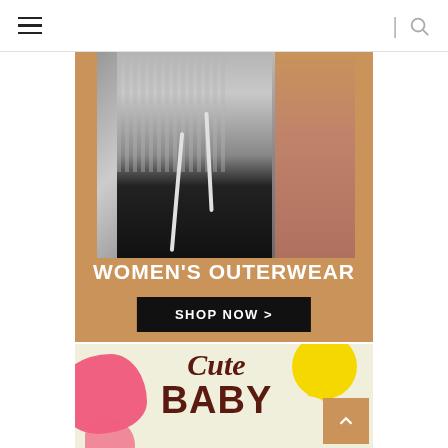Navigation header with hamburger menu and search icon
[Figure (photo): Woman wearing a grey ribbed zip-up hoodie sweater with white drawstrings, black pants, on a tan/beige background. Women's fashion outerwear promotion banner with tan background, title WOMEN'S OUTERWEAR and black SHOP NOW > button.]
[Figure (illustration): Cute BABY section banner with cream/beige background, pink blob shape on left, yellow circle and arc on right, dark maroon italic 'Cute' and bold 'BABY' text.]